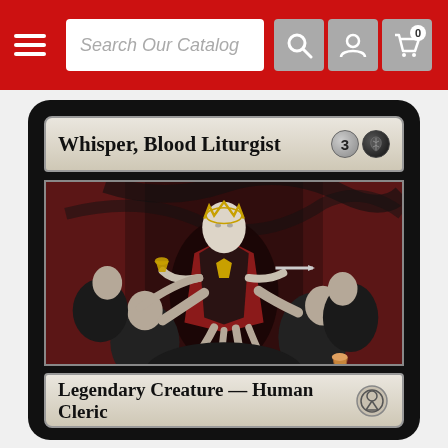Search Our Catalog
[Figure (photo): Magic: The Gathering card 'Whisper, Blood Liturgist' — a Legendary Creature Human Cleric with mana cost 3B. The card art shows a bald pale figure in ornate red and black robes holding a goblet and dagger, surrounded by reaching bald figures in black robes against a dark red curtained background. Card type line reads 'Legendary Creature — Human Cleric'.]